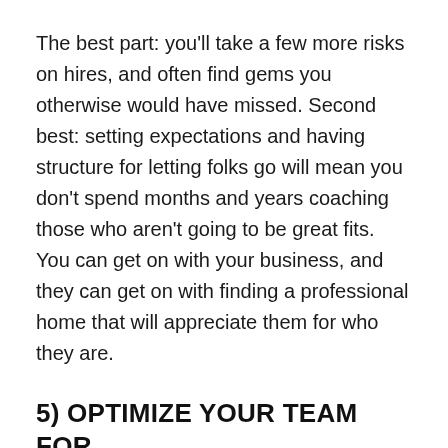The best part: you'll take a few more risks on hires, and often find gems you otherwise would have missed. Second best: setting expectations and having structure for letting folks go will mean you don't spend months and years coaching those who aren't going to be great fits. You can get on with your business, and they can get on with finding a professional home that will appreciate them for who they are.
5) OPTIMIZE YOUR TEAM FOR GREAT WORK, NOT HARD WORK
Deadlines and client expectations mean that